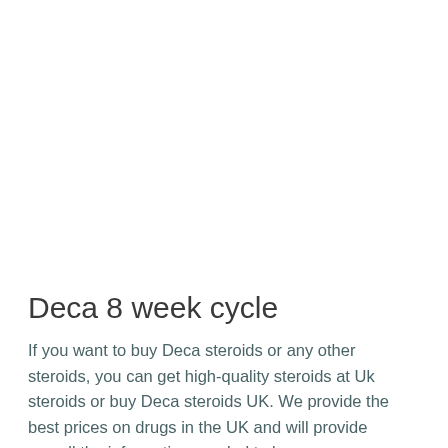Deca 8 week cycle
If you want to buy Deca steroids or any other steroids, you can get high-quality steroids at Uk steroids or buy Deca steroids UK. We provide the best prices on drugs in the UK and will provide you all the information needed to buy any